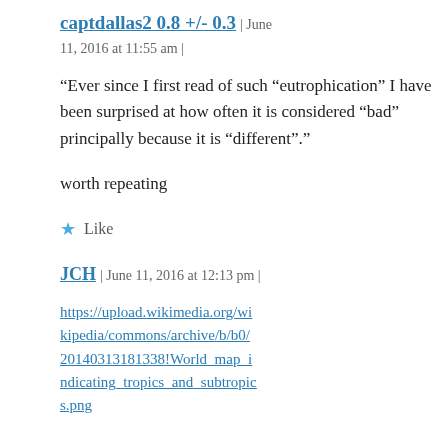captdallas2 0.8 +/- 0.3 | June 11, 2016 at 11:55 am |
“Ever since I first read of such “eutrophication” I have been surprised at how often it is considered “bad” principally because it is “different”.”
worth repeating
★ Like
JCH | June 11, 2016 at 12:13 pm |
https://upload.wikimedia.org/wikipedia/commons/archive/b/b0/20140313181338!World_map_indicating_tropics_and_subtropics.png